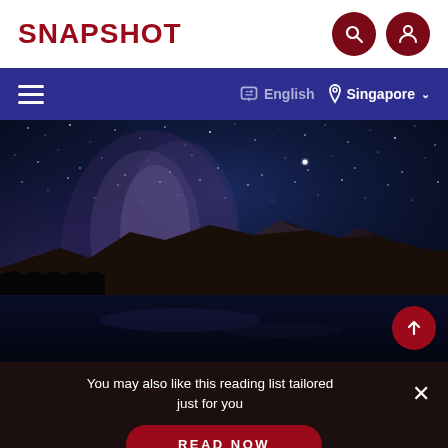SNAPSHOT
[Figure (screenshot): Navigation bar with hamburger menu, language selector showing 'English', and location selector showing 'Singapore' with dropdown chevron, on a dark blue/indigo background]
[Figure (photo): Night sky astrophotography showing the Milky Way galaxy over a mountain range with snow-capped peaks (resembling the Canadian Rockies) reflected in a calm lake below, dark silhouetted forest in foreground, stars filling the deep blue sky]
You may also like this reading list tailored just for you
READ NOW